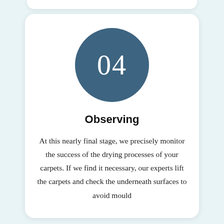[Figure (other): Dark teal circle badge with number 04 in white text]
Observing
At this nearly final stage, we precisely monitor the success of the drying processes of your carpets. If we find it necessary, our experts lift the carpets and check the underneath surfaces to avoid mould